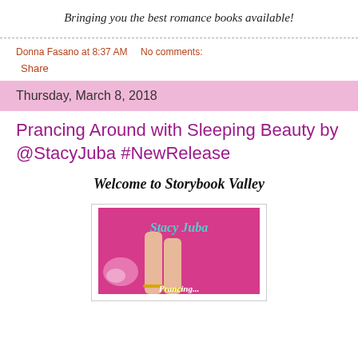Bringing you the best romance books available!
Donna Fasano at 8:37 AM    No comments:
Share
Thursday, March 8, 2018
Prancing Around with Sleeping Beauty by @StacyJuba #NewRelease
Welcome to Storybook Valley
[Figure (illustration): Book cover for 'Prancing Around with Sleeping Beauty' by Stacy Juba — pink background with legs wearing anklets and the author name in teal script, title text below]